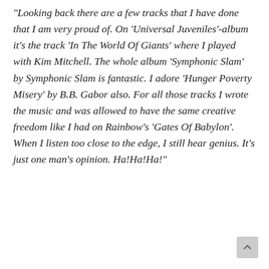“Looking back there are a few tracks that I have done that I am very proud of. On ‘Universal Juveniles’-album it’s the track ‘In The World Of Giants’ where I played with Kim Mitchell. The whole album ‘Symphonic Slam’ by Symphonic Slam is fantastic. I adore ‘Hunger Poverty Misery’ by B.B. Gabor also. For all those tracks I wrote the music and was allowed to have the same creative freedom like I had on Rainbow’s ‘Gates Of Babylon’. When I listen too close to the edge, I still hear genius. It’s just one man’s opinion. Ha!Ha!Ha!”